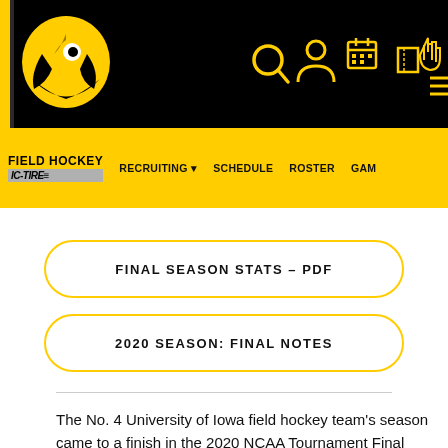[Figure (logo): University of Iowa Hawkeye logo on black header bar with yellow vertical stripe, icons for search, user, calendar, tickets, hand pointer, and menu on right]
FIELD HOCKEY | IC-TIRE | RECRUITING ▼ | SCHEDULE | ROSTER | GAME
FINAL SEASON STATS – PDF
2020 SEASON: FINAL NOTES
The No. 4 University of Iowa field hockey team's season came to a finish in the 2020 NCAA Tournament Final Four in Chapel Hill, North Carolina, after falling to No. 1 North...